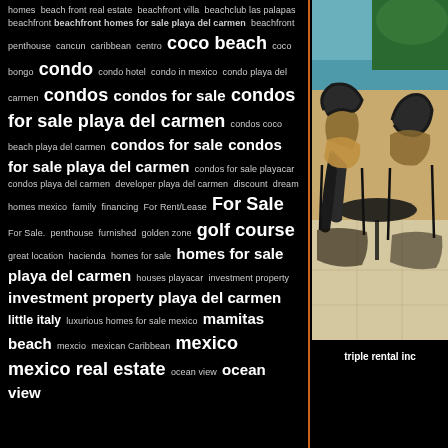homes  beach front real estate  beachfront villa  beachclub las palapas  beachfront beachfront homes for sale playa del carmen  beachfront penthouse  cancun  caribbean  centro  coco beach  coco bongo  condo  condo hotel  condo in mexico  condo playa del carmen  condos  condos for sale  condos for sale playa del carmen  condos coco beach playa del carmen  condos for sale  condos for sale playa del carmen  condos for sale playacar  condos playa del carmen  developer playa del carmen  discount  dream homes mexico  family  financing  For Rent/Lease  For Sale  For Sale. penthouse  furnished  golden zone  golf course  great location  hacienda  homes for sale  homes for sale playa del carmen  houses playacar  investment property  investment property playa del carmen  little italy  luxurious homes for sale mexico  mamitas beach  mexcio  mexican Caribbean  mexico  mexico real estate  ocean view  ocean view
[Figure (photo): Photo of a beachfront terrace with black metal chairs and table, tiled floor, ocean and palm trees visible in background]
triple rental inc